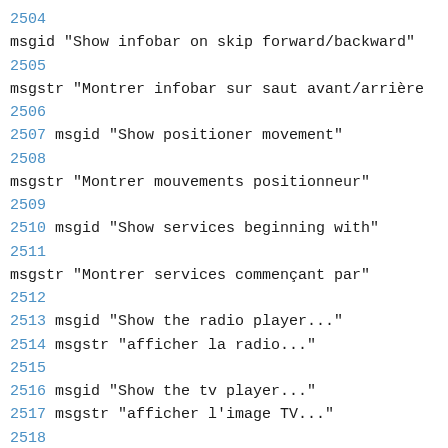2504
msgid "Show infobar on skip forward/backward"
2505
msgstr "Montrer infobar sur saut avant/arrière"
2506
2507 msgid "Show positioner movement"
2508
msgstr "Montrer mouvements positionneur"
2509
2510 msgid "Show services beginning with"
2511
msgstr "Montrer services commençant par"
2512
2513 msgid "Show the radio player..."
2514 msgstr "afficher la radio..."
2515
2516 msgid "Show the tv player..."
2517 msgstr "afficher l'image TV..."
2518
2519